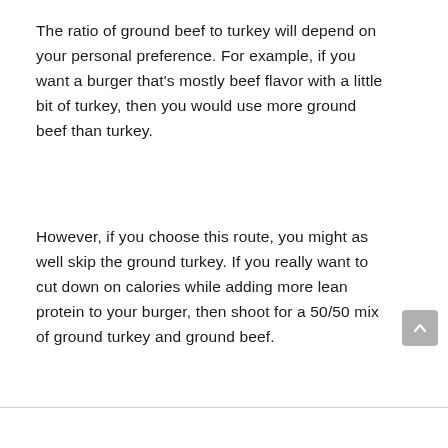The ratio of ground beef to turkey will depend on your personal preference. For example, if you want a burger that's mostly beef flavor with a little bit of turkey, then you would use more ground beef than turkey.
However, if you choose this route, you might as well skip the ground turkey. If you really want to cut down on calories while adding more lean protein to your burger, then shoot for a 50/50 mix of ground turkey and ground beef.